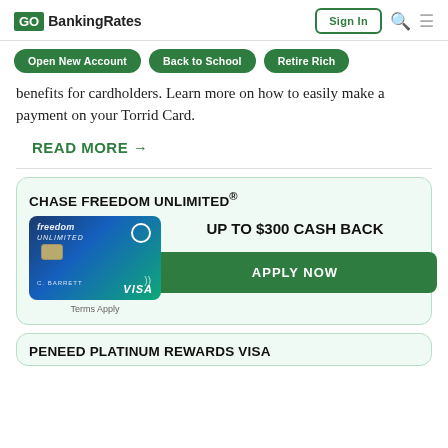GOBankingRates | Sign In
Open New Account | Back to School | Retire Rich
benefits for cardholders. Learn more on how to easily make a payment on your Torrid Card.
READ MORE →
[Figure (infographic): Chase Freedom Unlimited credit card advertisement. Shows a blue/teal credit card image with VISA branding, text 'UP TO $300 CASH BACK' and an 'APPLY NOW' green button. Terms Apply note below card image.]
CHASE FREEDOM UNLIMITED®
Terms Apply
PENEED PLATINUM REWARDS VISA